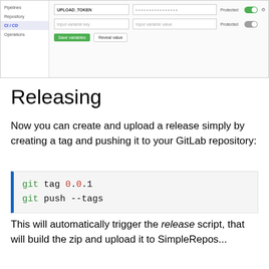[Figure (screenshot): GitLab CI/CD settings screenshot showing UPLOAD_TOKEN variable with Protected toggle enabled, and an empty variable input row below it, with Save variables and Reveal value buttons.]
Releasing
Now you can create and upload a release simply by creating a tag and pushing it to your GitLab repository:
git tag 0.0.1
git push --tags
This will automatically trigger the release script, that will build the zip and upload it to SimpleRepos...